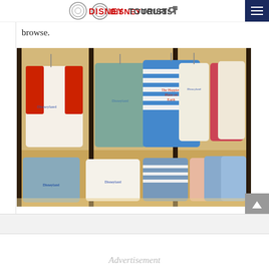DISNEYTOURISTBLOG
browse.
[Figure (photo): Disneyland merchandise store display shelf showing various t-shirts and tops hanging on racks, including Mickey Mouse themed Disneyland shirts in red, white, blue, and teal colors.]
Advertisement